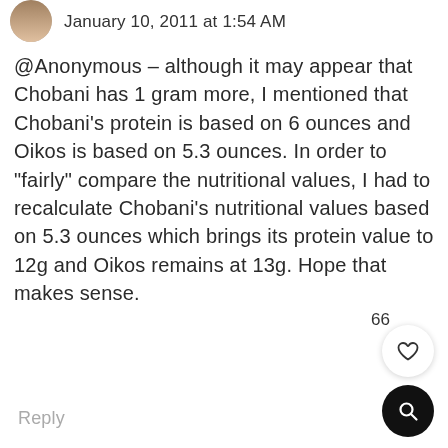January 10, 2011 at 1:54 AM
@Anonymous – although it may appear that Chobani has 1 gram more, I mentioned that Chobani's protein is based on 6 ounces and Oikos is based on 5.3 ounces. In order to "fairly" compare the nutritional values, I had to recalculate Chobani's nutritional values based on 5.3 ounces which brings its protein value to 12g and Oikos remains at 13g. Hope that makes sense.
Reply